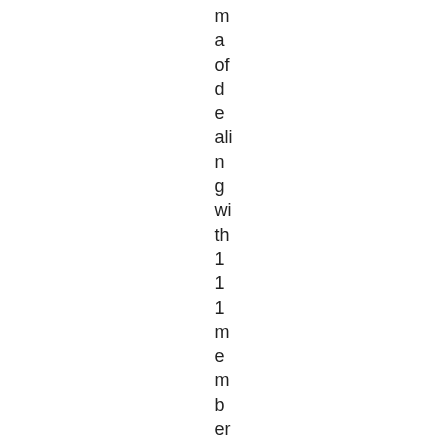m a of d e ali n g wi th 1 1 1 m e m b er s in th e mi lit ar y m a ny of